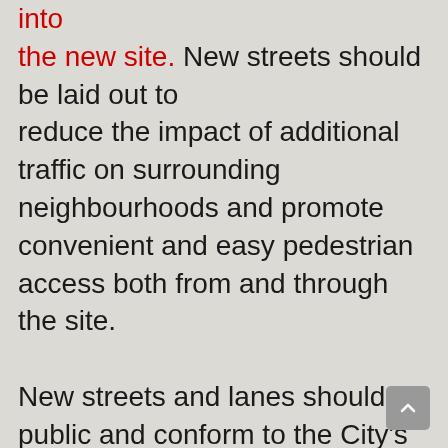into the new site. New streets should be laid out to reduce the impact of additional traffic on surrounding neighbourhoods and promote convenient and easy pedestrian access both from and through the site.

New streets and lanes should be public and conform to the City's standards of quality. Standard public street right-of-way widths accommodate space needs for essential municipal services and utilities above or below grade, sidewalks, streetlighting, landscaping and